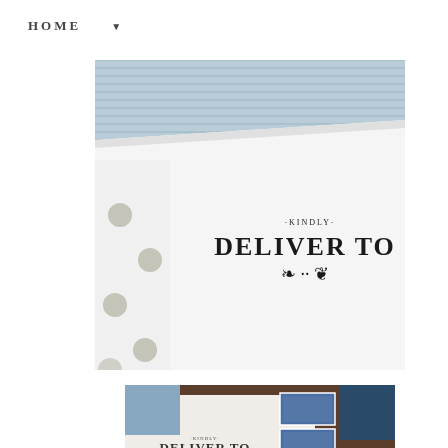HOME ▼
[Figure (photo): Close-up photo of a white envelope/card with a decorative rubber stamp reading 'KINDLY DELIVER TO' with ornamental flourishes, placed on a polka-dot surface with a blue striped background]
[Figure (photo): Photo of an envelope with postage stamps showing an eagle design, and a 'KINDLY DELIVER TO' decorative stamp impression visible, placed on a wooden surface]